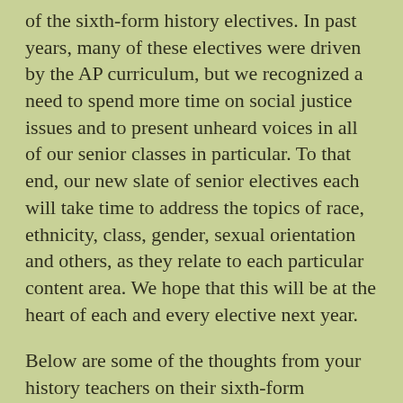of the sixth-form history electives. In past years, many of these electives were driven by the AP curriculum, but we recognized a need to spend more time on social justice issues and to present unheard voices in all of our senior classes in particular. To that end, our new slate of senior electives each will take time to address the topics of race, ethnicity, class, gender, sexual orientation and others, as they relate to each particular content area. We hope that this will be at the heart of each and every elective next year.
Below are some of the thoughts from your history teachers on their sixth-form electives and the work of diversity, equity and inclusion in the history classroom:
Most important, about that elective...